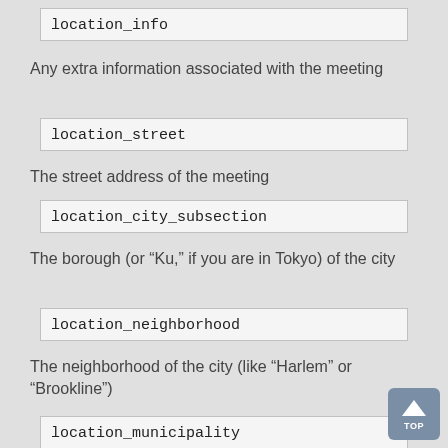location_info
Any extra information associated with the meeting
location_street
The street address of the meeting
location_city_subsection
The borough (or “Ku,” if you are in Tokyo) of the city
location_neighborhood
The neighborhood of the city (like “Harlem” or “Brookline”)
location_municipality